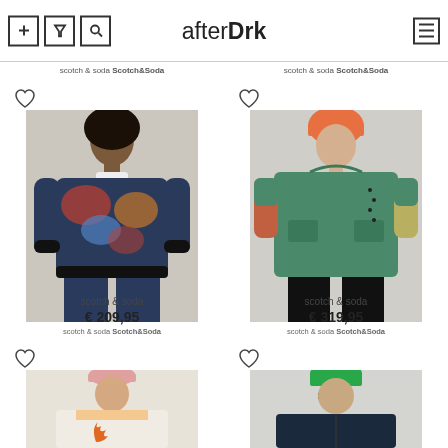afterDrk
scotch & soda Scotch&Soda
scotch & soda Scotch&Soda
[Figure (photo): Man wearing colorful floral/abstract print bomber jacket, dark jeans]
scotch & soda
€ 209,95
scotch & soda Scotch&Soda
[Figure (photo): Person wearing green color-block hooded jacket with orange beanie hat]
scotch & soda
€ 319,95
scotch & soda Scotch&Soda
[Figure (photo): Man wearing cream/white shirt with orange flame print, pink cap]
[Figure (photo): Person wearing dark navy jacket, green beanie and sunglasses]